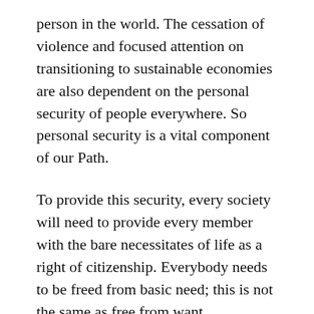person in the world. The cessation of violence and focused attention on transitioning to sustainable economies are also dependent on the personal security of people everywhere. So personal security is a vital component of our Path.
To provide this security, every society will need to provide every member with the bare necessitates of life as a right of citizenship. Everybody needs to be freed from basic need; this is not the same as free from want.
We're not talking about 20th Century social security benefits here; we're talking about a 21st Century personal security underpinning